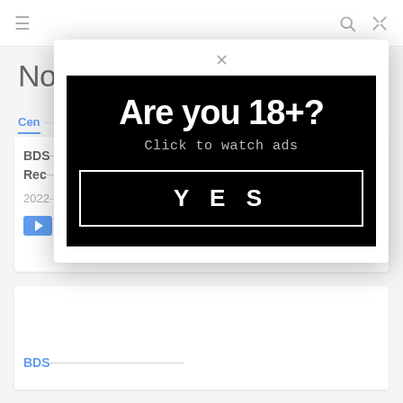≡  🔍  ✕
Nose Hook
Cen...  ...
BDS...   ...ining
Rec...
2022...
[Figure (screenshot): Age verification modal popup with black background showing 'Are you 18+?' headline, 'Click to watch ads' subtext, and a 'YES' button with white border]
BDS...